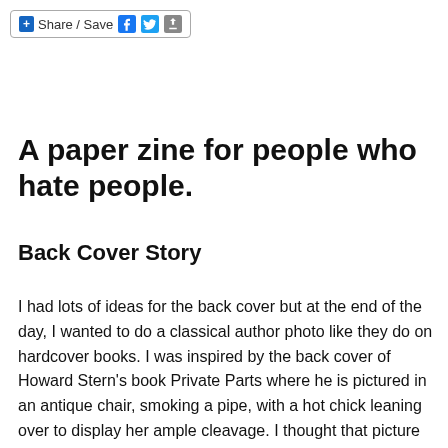+ Share / Save
A paper zine for people who hate people.
Back Cover Story
I had lots of ideas for the back cover but at the end of the day, I wanted to do a classical author photo like they do on hardcover books. I was inspired by the back cover of Howard Stern's book Private Parts where he is pictured in an antique chair, smoking a pipe, with a hot chick leaning over to display her ample cleavage. I thought that picture was cute, but it wasn't great. I like the idea of a regular guy putting on the guise of a serious author when the work that they have created is so non-literary.